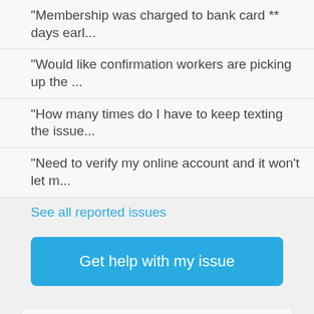"Membership was charged to bank card ** days earl...
"Would like confirmation workers are picking up the ...
"How many times do I have to keep texting the issue...
"Need to verify my online account and it won't let m...
See all reported issues
Get help with my issue
Not enough information to show chart "Problemas comunes de Costco reportados por usuarios de GetHuman, últimos 6 meses". This chart is likely available for larger brands.